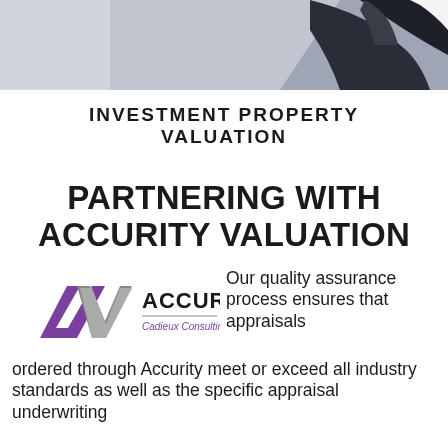[Figure (photo): Photo of a person in a dark suit jacket, cropped at the top of the page]
INVESTMENT PROPERTY VALUATION
PARTNERING WITH ACCURITY VALUATION
[Figure (logo): Accurity Cadieux Consulting logo with purple A chevron mark and grey V mark]
Our quality assurance process ensures that appraisals ordered through Accurity meet or exceed all industry standards as well as the specific appraisal underwriting
ordered through Accurity meet or exceed all industry standards as well as the specific appraisal underwriting